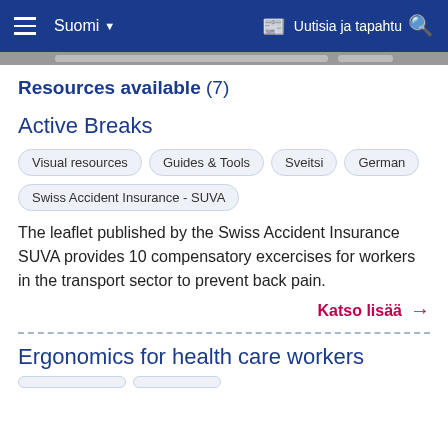Suomi | Uutisia ja tapahtu
Resources available (7)
Active Breaks
Visual resources
Guides & Tools
Sveitsi
German
Swiss Accident Insurance - SUVA
The leaflet published by the Swiss Accident Insurance SUVA provides 10 compensatory excercises for workers in the transport sector to prevent back pain.
Katso lisää →
Ergonomics for health care workers